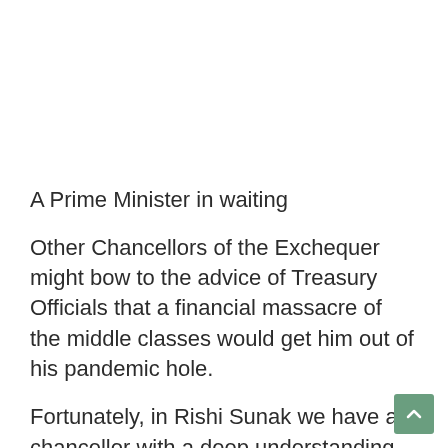A Prime Minister in waiting
Other Chancellors of the Exchequer might bow to the advice of Treasury Officials that a financial massacre of the middle classes would get him out of his pandemic hole.
Fortunately, in Rishi Sunak we have a chancellor with a deep understanding of